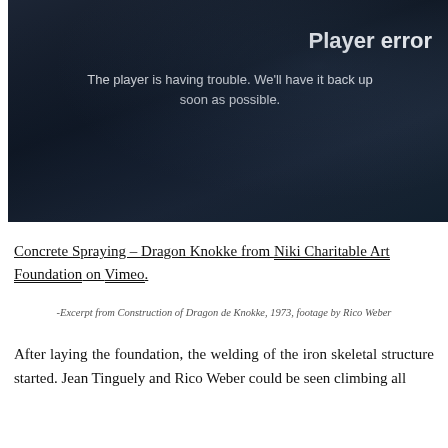[Figure (screenshot): Video player showing an error state with dark background. Text reads 'Player error' and 'The player is having trouble. We'll have it back up soon as possible.']
Concrete Spraying – Dragon Knokke from Niki Charitable Art Foundation on Vimeo.
-Excerpt from Construction of Dragon de Knokke, 1973, footage by Rico Weber
After laying the foundation, the welding of the iron skeletal structure started. Jean Tinguely and Rico Weber could be seen climbing all